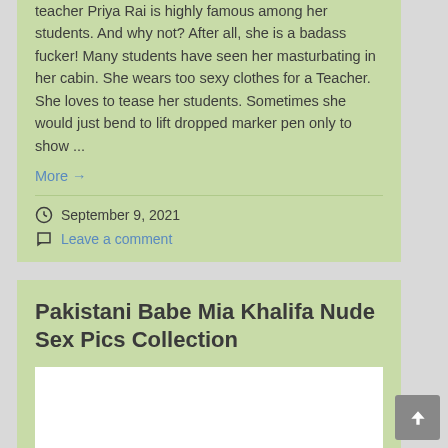teacher Priya Rai is highly famous among her students. And why not? After all, she is a badass fucker! Many students have seen her masturbating in her cabin. She wears too sexy clothes for a Teacher. She loves to tease her students. Sometimes she would just bend to lift dropped marker pen only to show ...
More →
September 9, 2021
Leave a comment
Pakistani Babe Mia Khalifa Nude Sex Pics Collection
[Figure (photo): White/blank image placeholder area]